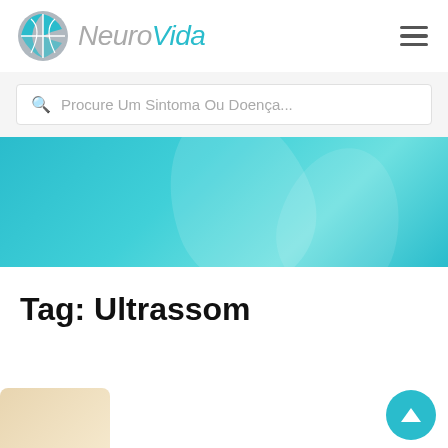[Figure (logo): NeuroVida logo with teal/grey globe icon and italic text 'NeuroVida' where 'Vida' is teal]
Procure Um Sintoma Ou Doença...
[Figure (illustration): Teal banner with abstract light-colored leaf/wave shapes overlay]
Tag: Ultrassom